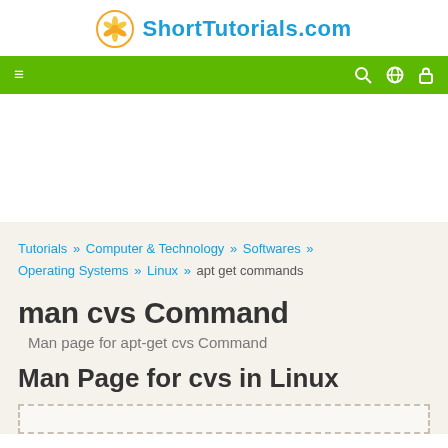ShortTutorials.com
[Figure (logo): ShortTutorials.com logo with orange circle and leaf/flower icon, site name in blue]
Tutorials » Computer & Technology » Softwares » Operating Systems » Linux » apt get commands
man cvs Command
Man page for apt-get cvs Command
Man Page for cvs in Linux